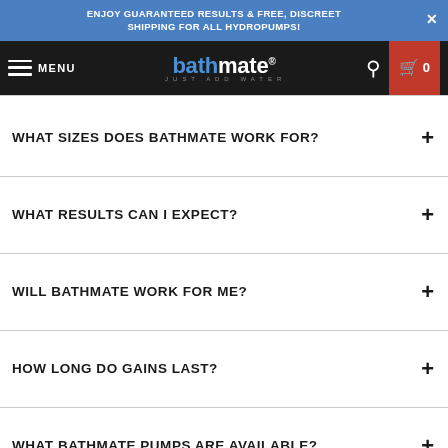ENJOY GUARANTEED RESULTS & FREE, DISCREET SHIPPING FOR ALL HYDROPUMPS!
[Figure (screenshot): Bathmate navigation bar with hamburger menu, logo, search icon, and cart button showing 0 items]
WHAT SIZES DOES BATHMATE WORK FOR?
WHAT RESULTS CAN I EXPECT?
WILL BATHMATE WORK FOR ME?
HOW LONG DO GAINS LAST?
WHAT BATHMATE PUMPS ARE AVAILABLE?
WHAT MAKES BATHMATE DIFFERENT FROM OTHER PENIS PUMPS?
WHAT IS HYDROMAX?